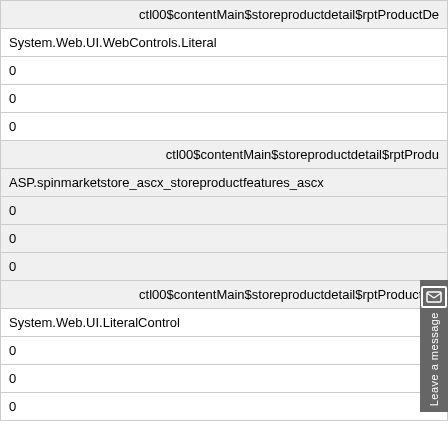| ctl00$contentMain$storeproductdetail$rptProductDe |
| System.Web.UI.WebControls.Literal |
| 0 |
| 0 |
| 0 |
| ctl00$contentMain$storeproductdetail$rptProdu |
| ASP.spinmarketstore_ascx_storeproductfeatures_ascx |
| 0 |
| 0 |
| 0 |
| ctl00$contentMain$storeproductdetail$rptProductDe |
| System.Web.UI.LiteralControl |
| 0 |
| 0 |
| 0 |